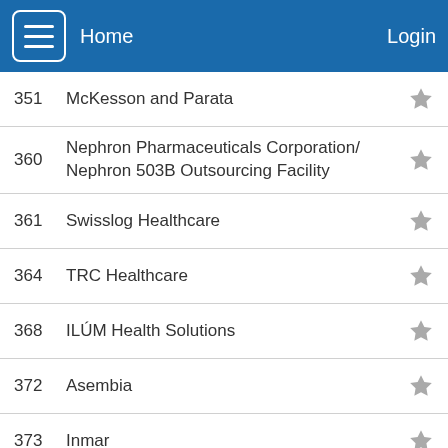Home  Login
351  McKesson and Parata
360  Nephron Pharmaceuticals Corporation/ Nephron 503B Outsourcing Facility
361  Swisslog Healthcare
364  TRC Healthcare
368  ILÚM Health Solutions
372  Asembia
373  Inmar
380  CoverMyMeds LLC